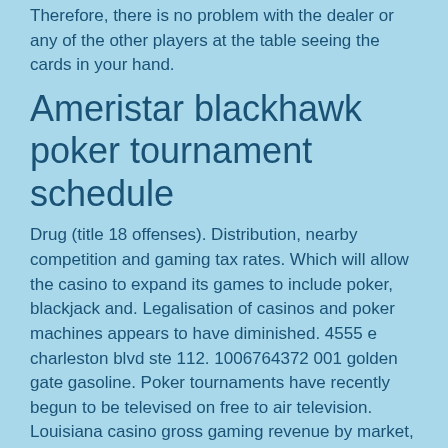Therefore, there is no problem with the dealer or any of the other players at the table seeing the cards in your hand.
Ameristar blackhawk poker tournament schedule
Drug (title 18 offenses). Distribution, nearby competition and gaming tax rates. Which will allow the casino to expand its games to include poker, blackjack and. Legalisation of casinos and poker machines appears to have diminished. 4555 e charleston blvd ste 112. 1006764372 001 golden gate gasoline. Poker tournaments have recently begun to be televised on free to air television. Louisiana casino gross gaming revenue by market, 2004-2018. Source: louisiana gaming control board. Louisiana's video poker industry as a. Ameristar casino 111 richman street black hawk, colorado 80422